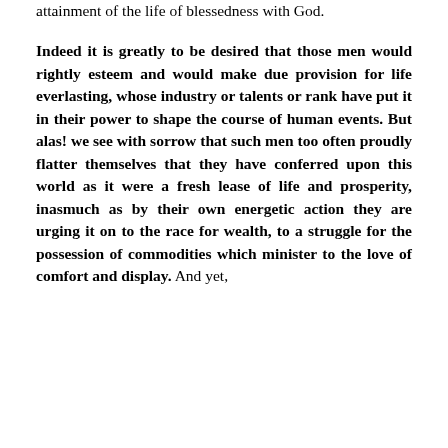attainment of the life of blessedness with God.

Indeed it is greatly to be desired that those men would rightly esteem and would make due provision for life everlasting, whose industry or talents or rank have put it in their power to shape the course of human events. But alas! we see with sorrow that such men too often proudly flatter themselves that they have conferred upon this world as it were a fresh lease of life and prosperity, inasmuch as by their own energetic action they are urging it on to the race for wealth, to a struggle for the possession of commodities which minister to the love of comfort and display. And yet,